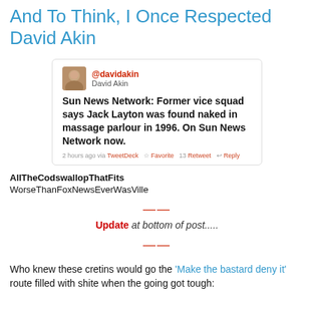And To Think, I Once Respected David Akin
[Figure (screenshot): Screenshot of a tweet by @davidakin (David Akin) reading: 'Sun News Network: Former vice squad says Jack Layton was found naked in massage parlour in 1996. On Sun News Network now.' with meta: '2 hours ago via TweetDeck   Favorite   Retweet   Reply']
AllTheCodswallopThatFits
WorseThanFoxNewsEverWasVille
Update at bottom of post.....
Who knew these cretins would go the 'Make the bastard deny it' route filled with shite when the going got tough: